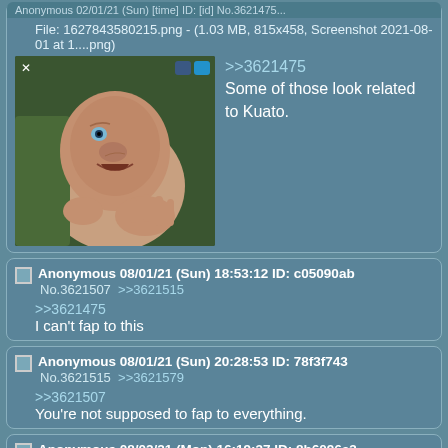Anonymous [date] ID: [id]
File: 1627843580215.png - (1.03 MB, 815x458, Screenshot 2021-08-01 at 1....png)
[image]
>>3621475
Some of those look related to Kuato.
Anonymous 08/01/21 (Sun) 18:53:12 ID: c05090ab
No.3621507 >>3621515
>>3621475
I can't fap to this
Anonymous 08/01/21 (Sun) 20:28:53 ID: 78f3f743
No.3621515 >>3621579
>>3621507
You're not supposed to fap to everything.
Anonymous 08/02/21 (Mon) 16:19:37 ID: 8b6096e3
No.3621579 >>3621583